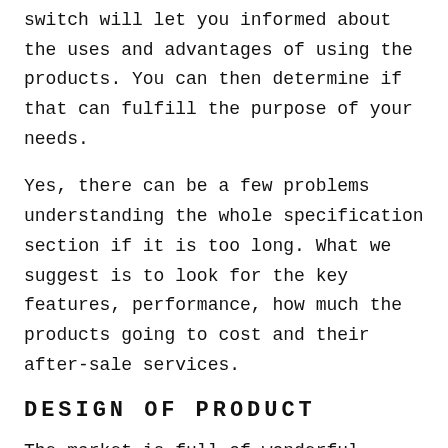switch will let you informed about the uses and advantages of using the products. You can then determine if that can fulfill the purpose of your needs.
Yes, there can be a few problems understanding the whole specification section if it is too long. What we suggest is to look for the key features, performance, how much the products going to cost and their after-sale services.
DESIGN OF PRODUCT
The market is full of wonderful products, and it can be tough to decide which one to choose. However, the first impression you can make of the item is the